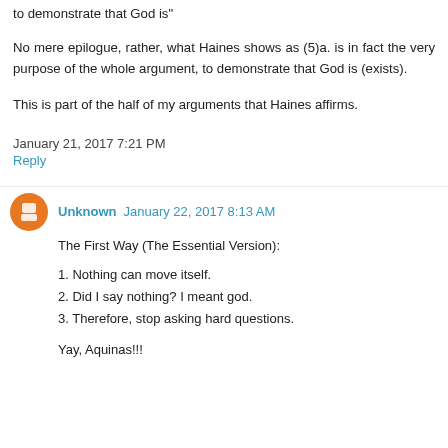to demonstrate that God is"
No mere epilogue, rather, what Haines shows as (5)a. is in fact the very purpose of the whole argument, to demonstrate that God is (exists).
This is part of the half of my arguments that Haines affirms.
January 21, 2017 7:21 PM
Reply
Unknown  January 22, 2017 8:13 AM
The First Way (The Essential Version):
1. Nothing can move itself.
2. Did I say nothing? I meant god.
3. Therefore, stop asking hard questions.
Yay, Aquinas!!!